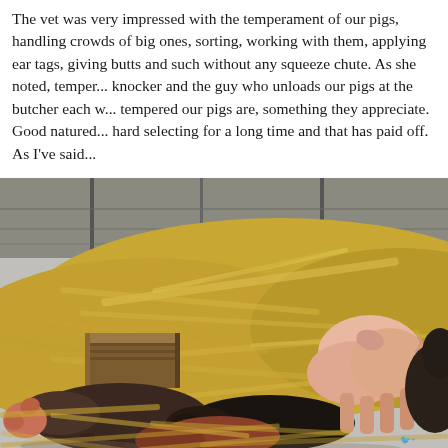The vet was very impressed with the temperament of our pigs, handling crowds of big ones, sorting, working with them, applying ear tags, giving butts and such without any squeeze chute. As she noted, temper... knocker and the guy who unloads our pigs at the butcher each w... tempered our pigs are, something they appreciate. Good natured... hard selecting for a long time and that has paid off. As I've said...
[Figure (photo): Photograph of pigs resting and standing among large piles of straw/hay in an outdoor farm pen. A pink pig stands in the background near a fence, while darker pigs lie in the foreground amongst the hay.]